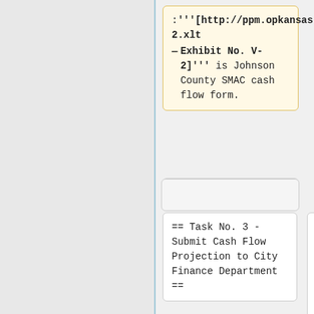:'''[http://ppm.opkansas.org/wiki/images/V-2.xlt Exhibit No. V-2]''' is Johnson County SMAC cash flow form.
== Task No. 3 - Submit Cash Flow Projection to City Finance Department ==
== Task No. 3 - Submit Cash Flow Projection to City Finance Department ==